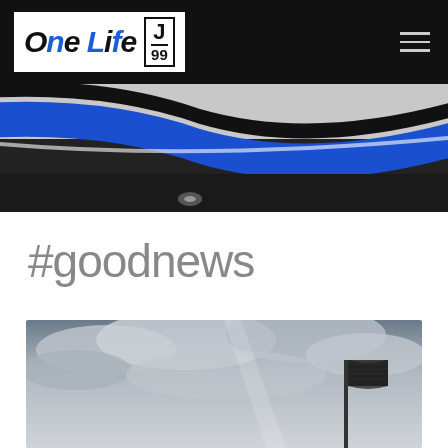One Life J/99
[Figure (photo): Close-up of a sailboat hull with blue and black decorative stripe design]
#goodnews
[Figure (photo): Cloudy sky with an American flag silhouette in the lower right corner]